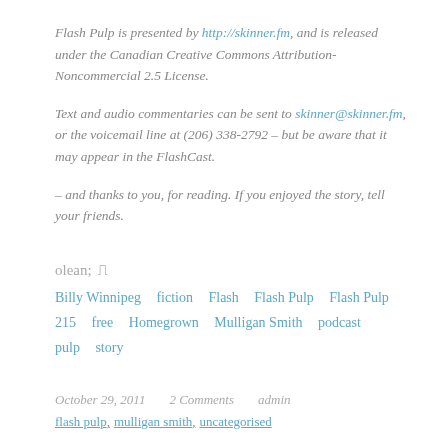Flash Pulp is presented by http://skinner.fm, and is released under the Canadian Creative Commons Attribution-Noncommercial 2.5 License.
Text and audio commentaries can be sent to skinner@skinner.fm, or the voicemail line at (206) 338-2792 – but be aware that it may appear in the FlashCast.
– and thanks to you, for reading. If you enjoyed the story, tell your friends.
Tags: Billy Winnipeg  fiction  Flash  Flash Pulp  Flash Pulp 215  free  Homegrown  Mulligan Smith  podcast  pulp  story
October 29, 2011    2 Comments    admin
flash pulp, mulligan smith, uncategorised